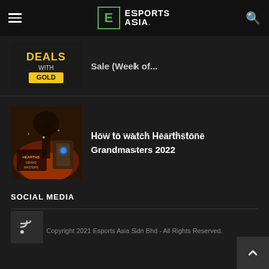ESPORTS ASIA.
Sale (Week of...
How to watch Hearthstone Grandmasters 2022
SOCIAL MEDIA
[Figure (other): RSS feed icon button]
Copyright 2021 Esports Asia Sdn Bhd - All Rights Reserved.